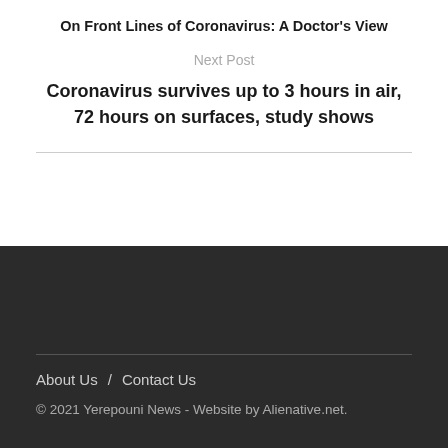On Front Lines of Coronavirus: A Doctor's View
Next Post
Coronavirus survives up to 3 hours in air, 72 hours on surfaces, study shows
About Us / Contact Us
© 2021 Yerepouni News - Website by Alienative.net.